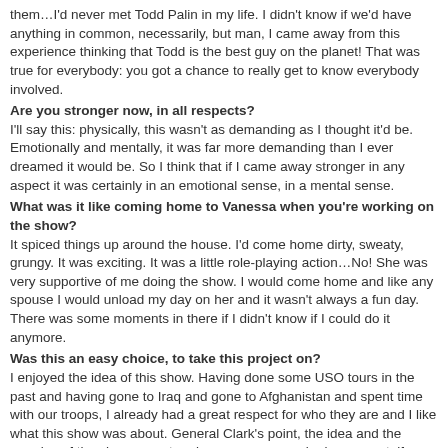them…I'd never met Todd Palin in my life. I didn't know if we'd have anything in common, necessarily, but man, I came away from this experience thinking that Todd is the best guy on the planet! That was true for everybody: you got a chance to really get to know everybody involved.
Are you stronger now, in all respects?
I'll say this: physically, this wasn't as demanding as I thought it'd be. Emotionally and mentally, it was far more demanding than I ever dreamed it would be. So I think that if I came away stronger in any aspect it was certainly in an emotional sense, in a mental sense.
What was it like coming home to Vanessa when you're working on the show?
It spiced things up around the house. I'd come home dirty, sweaty, grungy. It was exciting. It was a little role-playing action…No! She was very supportive of me doing the show. I would come home and like any spouse I would unload my day on her and it wasn't always a fun day. There was some moments in there if I didn't know if I could do it anymore.
Was this an easy choice, to take this project on?
I enjoyed the idea of this show. Having done some USO tours in the past and having gone to Iraq and gone to Afghanistan and spent time with our troops, I already had a great respect for who they are and I like what this show was about. General Clark's point, the idea and the premise of the show, was to raise awareness and raise respect, if you will, for what our men and women in service do for us each and everyday. I was proud to be a part of something like that.
"Stars Earn Stripes" airs Mondays at 9 ET/8 C on NBC.